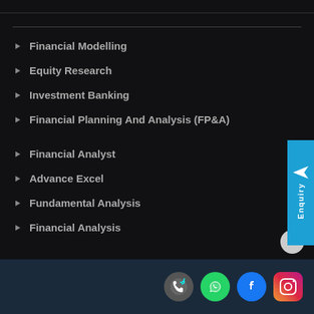Financial Modelling
Equity Research
Investment Banking
Financial Planning And Analysis (FP&A)
Financial Analyst
Advance Excel
Fundamental Analysis
Financial Analysis
[Figure (infographic): Enquiry tab on right side, blue vertical tab with text 'Enquiry' and a logo icon]
Social media icons: phone, WhatsApp, Facebook, Instagram